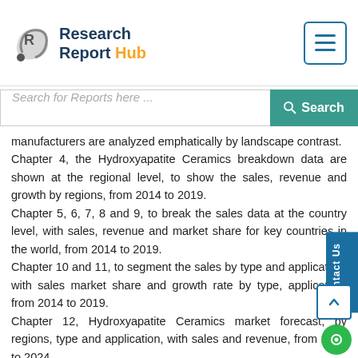Research Report Hub
manufacturers are analyzed emphatically by landscape contrast.
Chapter 4, the Hydroxyapatite Ceramics breakdown data are shown at the regional level, to show the sales, revenue and growth by regions, from 2014 to 2019.
Chapter 5, 6, 7, 8 and 9, to break the sales data at the country level, with sales, revenue and market share for key countries in the world, from 2014 to 2019.
Chapter 10 and 11, to segment the sales by type and application, with sales market share and growth rate by type, application, from 2014 to 2019.
Chapter 12, Hydroxyapatite Ceramics market forecast, by regions, type and application, with sales and revenue, from 2019 to 2024.
Chapter 13, 14 and 15, to describe Hydroxyapatite Ceramics sales channel, distributors, customers,